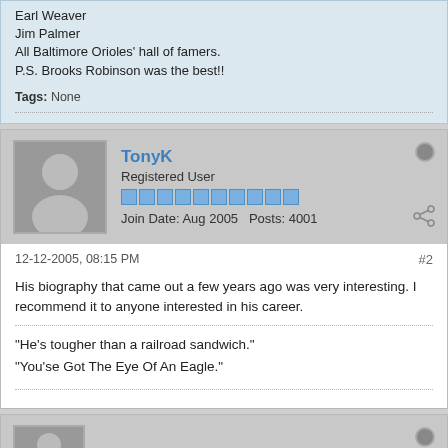Earl Weaver
Jim Palmer
All Baltimore Orioles' hall of famers.
P.S. Brooks Robinson was the best!!
Tags: None
TonyK
Registered User
Join Date: Aug 2005   Posts: 4001
12-12-2005, 08:15 PM   #2
His biography that came out a few years ago was very interesting. I recommend it to anyone interested in his career.
"He's tougher than a railroad sandwich."
"You'se Got The Eye Of An Eagle."
The Commissioner